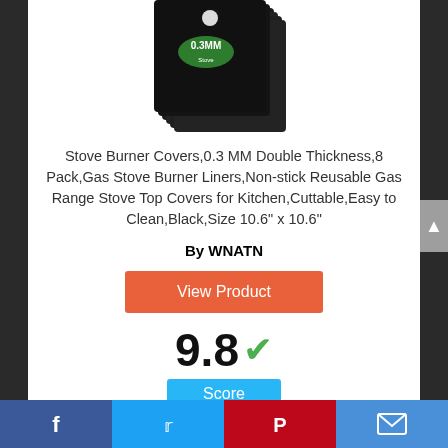[Figure (photo): Stack of black stove burner covers/liners with a green oval label showing '0.3MM']
Stove Burner Covers,0.3 MM Double Thickness,8 Pack,Gas Stove Burner Liners,Non-stick Reusable Gas Range Stove Top Covers for Kitchen,Cuttable,Easy to Clean,Black,Size 10.6” x 10.6”
By WNATN
View Product
9.8 ✓
Score
Facebook | Twitter | Pinterest | Email